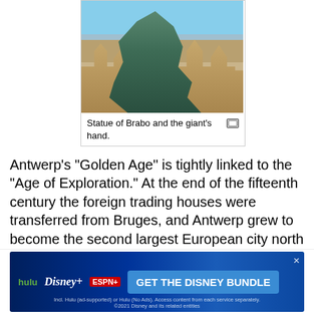[Figure (photo): Photo of the Statue of Brabo and the giant's hand in front of ornate historic guild buildings in Antwerp, Belgium, under a blue sky.]
Statue of Brabo and the giant's hand.
Antwerp's "Golden Age" is tightly linked to the "Age of Exploration." At the end of the fifteenth century the foreign trading houses were transferred from Bruges, and Antwerp grew to become the second largest European city north of the Alps by 1560. Many foreign merchants were resident in the city. Guicciardini, the Venetian envoy, stated that hundreds of Antwerp's ships and parts entered pepper and cinnamon.
[Figure (screenshot): Advertisement for the Disney Bundle (Hulu, Disney+, ESPN+). Incl. Hulu (ad-supported) or Hulu (No Ads). Access content from each service separately. ©2021 Disney and its related entities.]